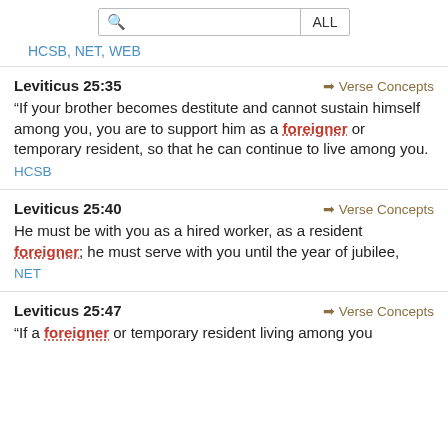HCSB, NET, WEB
Leviticus 25:35
“If your brother becomes destitute and cannot sustain himself among you, you are to support him as a foreigner or temporary resident, so that he can continue to live among you.
HCSB
Leviticus 25:40
He must be with you as a hired worker, as a resident foreigner; he must serve with you until the year of jubilee,
NET
Leviticus 25:47
“If a foreigner or temporary resident living among you